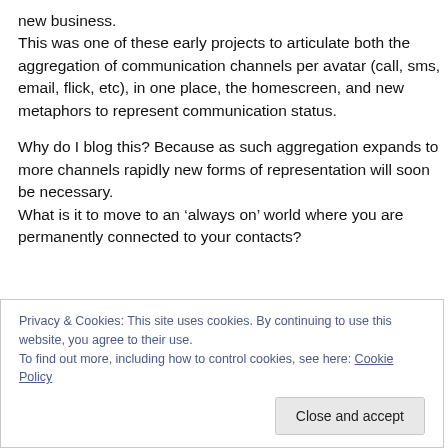new business.
This was one of these early projects to articulate both the aggregation of communication channels per avatar (call, sms, email, flick, etc), in one place, the homescreen, and new metaphors to represent communication status.
Why do I blog this? Because as such aggregation expands to more channels rapidly new forms of representation will soon be necessary.
What is it to move to an ‘always on’ world where you are permanently connected to your contacts?
Privacy & Cookies: This site uses cookies. By continuing to use this website, you agree to their use.
To find out more, including how to control cookies, see here: Cookie Policy